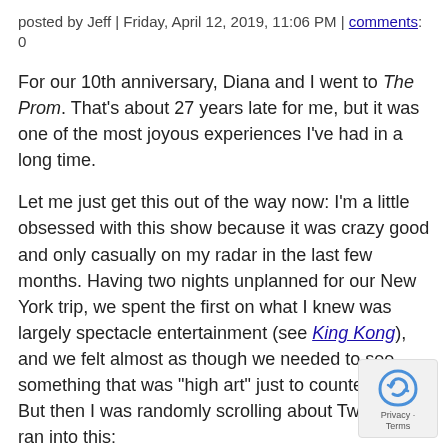posted by Jeff | Friday, April 12, 2019, 11:06 PM | comments: 0
For our 10th anniversary, Diana and I went to The Prom. That's about 27 years late for me, but it was one of the most joyous experiences I've had in a long time.
Let me just get this out of the way now: I'm a little obsessed with this show because it was crazy good and only casually on my radar in the last few months. Having two nights unplanned for our New York trip, we spent the first on what I knew was largely spectacle entertainment (see King Kong), and we felt almost as though we needed to see something that was "high art" just to counter that. But then I was randomly scrolling about Twitter and ran into this:
Little late to @ThePromMusical but I'm so glad I made it.
This show has the biggest effing heart on Broadway.
Laughed my brains out.